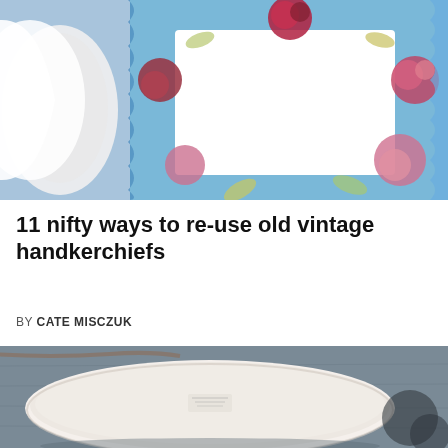[Figure (photo): Vintage floral handkerchief on blue background with pink and red flowers, white center, decorative blue scallop border edge]
11 nifty ways to re-use old vintage handkerchiefs
BY CATE MISCZUK
[Figure (photo): White ceramic oval dish or plate placed face-down showing the maker's mark, on a grey fabric background]